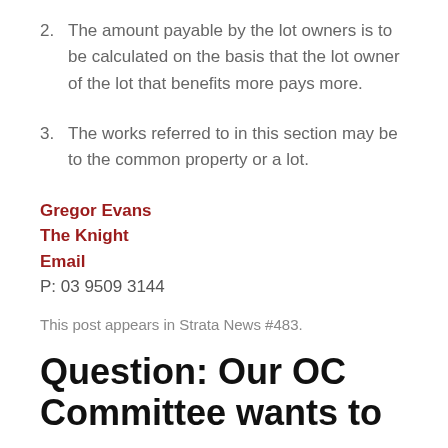2. The amount payable by the lot owners is to be calculated on the basis that the lot owner of the lot that benefits more pays more.
3. The works referred to in this section may be to the common property or a lot.
Gregor Evans
The Knight
Email
P: 03 9509 3144
This post appears in Strata News #483.
Question: Our OC Committee wants to